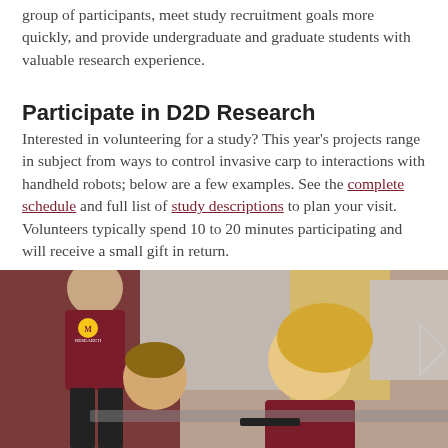group of participants, meet study recruitment goals more quickly, and provide undergraduate and graduate students with valuable research experience.
Participate in D2D Research
Interested in volunteering for a study? This year’s projects range in subject from ways to control invasive carp to interactions with handheld robots; below are a few examples. See the complete schedule and full list of study descriptions to plan your visit. Volunteers typically spend 10 to 20 minutes participating and will receive a small gift in return.
[Figure (photo): Photo of a researcher in a maroon University of Minnesota shirt leaning over to assist a young girl, with a smiling blonde woman in the foreground, in what appears to be a research setting.]